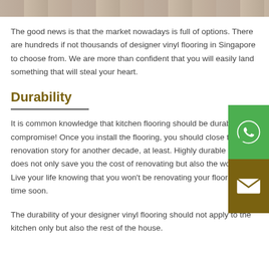[Figure (photo): Top strip of a flooring photo showing wood/vinyl texture in grey-brown tones]
The good news is that the market nowadays is full of options. There are hundreds if not thousands of designer vinyl flooring in Singapore to choose from. We are more than confident that you will easily land something that will steal your heart.
Durability
It is common knowledge that kitchen flooring should be durable- no compromise! Once you install the flooring, you should close the renovation story for another decade, at least. Highly durable flooring does not only save you the cost of renovating but also the worry. Live your life knowing that you won't be renovating your flooring any time soon.
The durability of your designer vinyl flooring should not apply to the kitchen only but also the rest of the house.